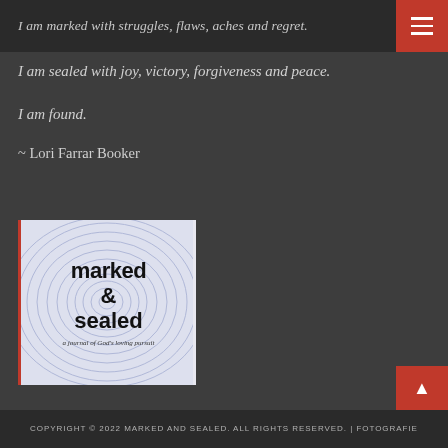I am marked with struggles, flaws, aches and regret.
I am sealed with joy, victory, forgiveness and peace.
I am found.
~ Lori Farrar Booker
[Figure (illustration): Book cover of 'marked & sealed: a journal of God's loving pursuit' with fingerprint swirl background in light blue/purple tones]
COPYRIGHT © 2022 MARKED AND SEALED. ALL RIGHTS RESERVED. | FOTOGRAFIE